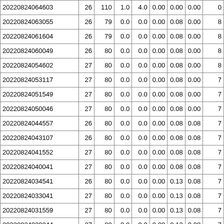| 20220824064603 | 26 | 110 | 1.0 | 4.0 | 0.00 | 0.00 | 0.00 | 0 |
| 20220824063055 | 26 | 79 | 0.0 | 0.0 | 0.00 | 0.08 | 0.00 | 8 |
| 20220824061604 | 26 | 79 | 0.0 | 0.0 | 0.00 | 0.08 | 0.00 | 8 |
| 20220824060049 | 26 | 80 | 0.0 | 0.0 | 0.00 | 0.08 | 0.00 | 8 |
| 20220824054602 | 27 | 80 | 0.0 | 0.0 | 0.00 | 0.08 | 0.00 | 8 |
| 20220824053117 | 27 | 80 | 0.0 | 0.0 | 0.00 | 0.08 | 0.00 | 7 |
| 20220824051549 | 27 | 80 | 0.0 | 0.0 | 0.00 | 0.08 | 0.00 | 7 |
| 20220824050046 | 27 | 80 | 0.0 | 0.0 | 0.00 | 0.08 | 0.00 | 7 |
| 20220824044557 | 26 | 80 | 0.0 | 0.0 | 0.00 | 0.08 | 0.08 | 7 |
| 20220824043107 | 26 | 80 | 0.0 | 0.0 | 0.00 | 0.08 | 0.08 | 7 |
| 20220824041552 | 27 | 80 | 0.0 | 0.0 | 0.00 | 0.08 | 0.08 | 7 |
| 20220824040041 | 27 | 80 | 0.0 | 0.0 | 0.00 | 0.08 | 0.08 | 7 |
| 20220824034541 | 26 | 80 | 0.0 | 0.0 | 0.00 | 0.13 | 0.08 | 7 |
| 20220824033041 | 27 | 80 | 0.0 | 0.0 | 0.00 | 0.13 | 0.08 | 7 |
| 20220824031559 | 27 | 80 | 0.0 | 0.0 | 0.00 | 0.13 | 0.08 | 7 |
| 20220824030044 | 27 | 80 | 0.0 | 0.0 | 0.00 | 0.13 | 0.08 | 7 |
| 20220824024549 | 27 | 80 | 0.0 | 0.0 | 0.00 | 0.23 | 0.08 | 7 |
| 20220824023043 | 27 | 80 | 0.0 | 0.0 | 0.00 | 0.23 | 0.08 | 7 |
| 20220824021559 | 27 | 80 | 0.0 | 0.0 | 0.00 | 0.23 | 0.08 | 7 |